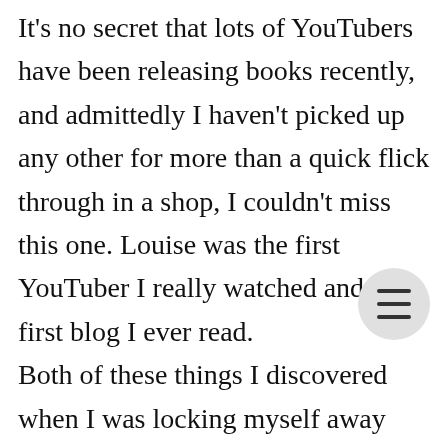It's no secret that lots of YouTubers have been releasing books recently, and admittedly I haven't picked up any other for more than a quick flick through in a shop, I couldn't miss this one. Louise was the first YouTuber I really watched and the first blog I ever read. Both of these things I discovered when I was locking myself away because I didn't want to be seen by anyone. I thought if I watched and read peoples online content I could feel like my life didn't really exist. I must admit that for some videos I watched this was true, but Louise's videos gave me confidence that I could be my own person and I shouldn't feel ashamed at all. The blog posts felt like talking to a friend over coffee and the vlogs made me want to recover to see what I could achieve, so missing this book really wasn't an option for me. And really wasn't. I